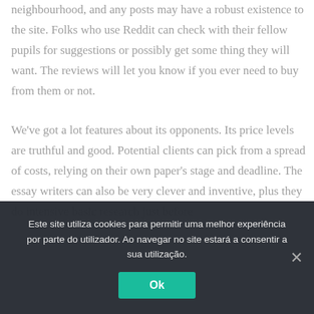neighbourhood, and any posts may have a robust existence to the site. Folks who use Reddit can check with their fellow pupils for suggestions or possibly get some thing they will want. The reviews will let you know if you ever need to buy from them or not.
We've got a lot features about its opponents. Its price levels are truthful and good. Potential clients can pick from a spread of costs, relying on their own paper's stage and deadline. The essay writers can also be very clever and inventive, plus they do intensive basic research just before
Este site utiliza cookies para permitir uma melhor experiência por parte do utilizador. Ao navegar no site estará a consentir a sua utilização.